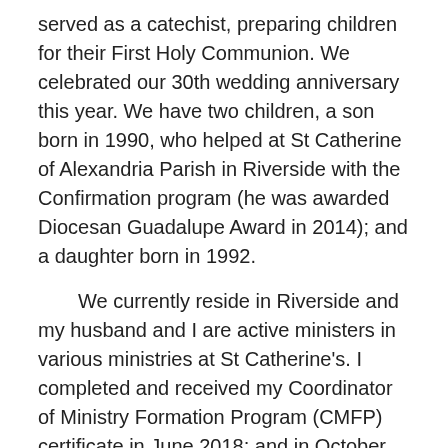served as a catechist, preparing children for their First Holy Communion. We celebrated our 30th wedding anniversary this year. We have two children, a son born in 1990, who helped at St Catherine of Alexandria Parish in Riverside with the Confirmation program (he was awarded Diocesan Guadalupe Award in 2014); and a daughter born in 1992.
We currently reside in Riverside and my husband and I are active ministers in various ministries at St Catherine's. I completed and received my Coordinator of Ministry Formation Program (CMFP) certificate in June 2018; and in October will begin Advanced Liturgy specialization. I was selected and attended as a delegate for V Encuentro Regional and National gatherings; proudly following in my mother's footsteps, as she was a delegate for II Encuentro. By attending V Encuentro, and hearing the needs of the